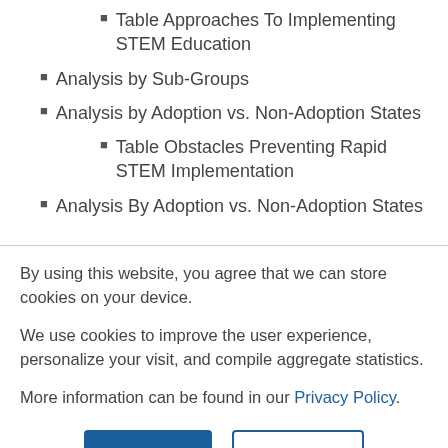Table Approaches To Implementing STEM Education
Analysis by Sub-Groups
Analysis by Adoption vs. Non-Adoption States
Table Obstacles Preventing Rapid STEM Implementation
Analysis By Adoption vs. Non-Adoption States
By using this website, you agree that we can store cookies on your device.
We use cookies to improve the user experience, personalize your visit, and compile aggregate statistics.
More information can be found in our Privacy Policy.